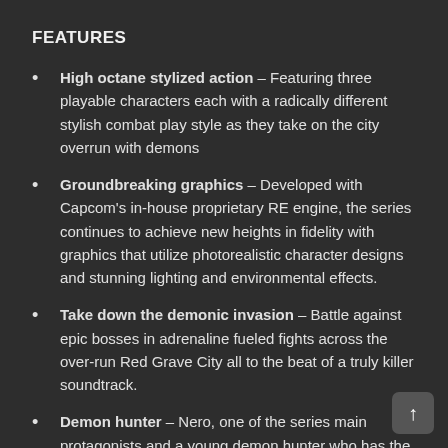FEATURES
High octane stylized action – Featuring three playable characters each with a radically different stylish combat play style as they take on the city overrun with demons
Groundbreaking graphics – Developed with Capcom's in-house proprietary RE engine, the series continues to achieve new heights in fidelity with graphics that utilize photorealistic character designs and stunning lighting and environmental effects.
Take down the demonic invasion – Battle against epic bosses in adrenaline fueled fights across the over-run Red Grave City all to the beat of a truly killer soundtrack.
Demon hunter – Nero, one of the series main protagonists and a young demon hunter who has the blood of Sparda, heads to Red Grave City to face